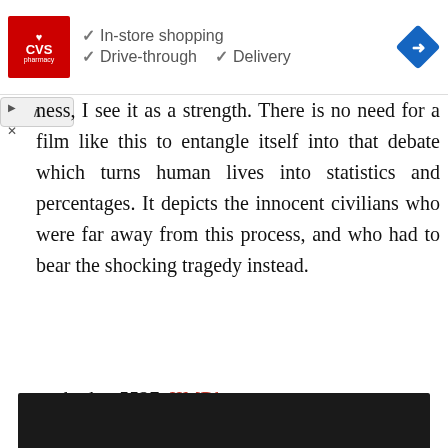[Figure (screenshot): CVS Pharmacy advertisement banner showing logo and checkmarks for In-store shopping, Drive-through, and Delivery services, with a navigation arrow icon on the right]
ness, I see it as a strength. There is no need for a film like this to entangle itself into that debate which turns human lives into statistics and percentages. It depicts the innocent civilians who were far away from this process, and who had to bear the shocking tragedy instead.
—sharky_5527, IIMDb
[Figure (photo): Dark/black image bar at the bottom of the page]